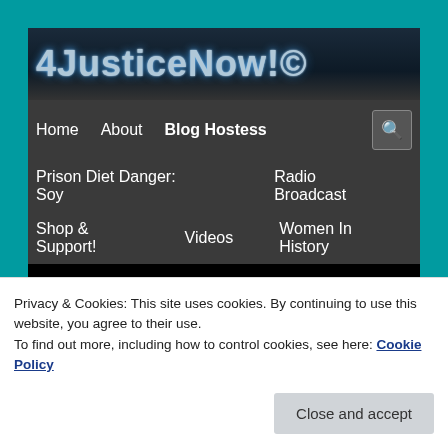[Figure (screenshot): Website header/logo for 4JusticeNow!© with dark blue metallic styling]
4JusticeNow!©
Home
About
Blog Hostess
Prison Diet Danger: Soy
Radio Broadcast
Shop & Support!
Videos
Women In History
Blog Hostess
Privacy & Cookies: This site uses cookies. By continuing to use this website, you agree to their use.
To find out more, including how to control cookies, see here: Cookie Policy
Close and accept
started my own business many years ago only to find that